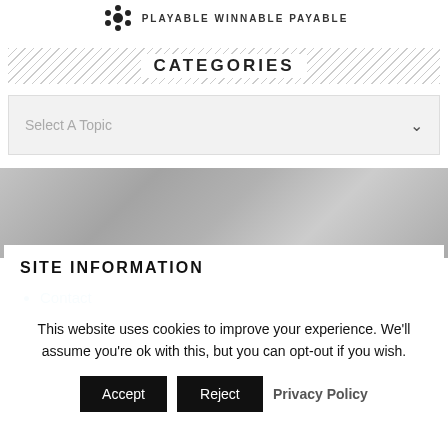[Figure (logo): Website logo icon (gear/flower shape) with text 'PLAYABLE WINNABLE PAYABLE' to the right]
CATEGORIES
Select A Topic
SITE INFORMATION
Contact
This website uses cookies to improve your experience. We'll assume you're ok with this, but you can opt-out if you wish.
Accept   Reject   Privacy Policy